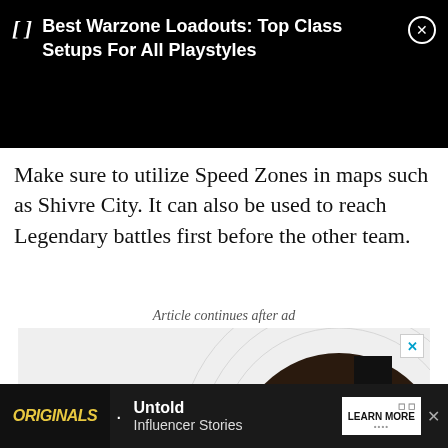[Figure (screenshot): Black notification bar at top with italic bracket icon, bold white text 'Best Warzone Loadouts: Top Class Setups For All Playstyles', and a circled X close button on the right.]
Make sure to utilize Speed Zones in maps such as Shivre City. It can also be used to reach Legendary battles first before the other team.
Article continues after ad
[Figure (illustration): Advertisement graphic showing a circular dark target/bullseye design with colorful geometric shapes (green, pink, teal, orange) in the center on a light gray background. Has an X close button in top right corner.]
[Figure (screenshot): Bottom banner advertisement for 'Untold Influencer Stories' with 'ORIGINALS' logo in yellow on dark background, bullet point, and a 'LEARN MORE' button. Has a close X button on right.]